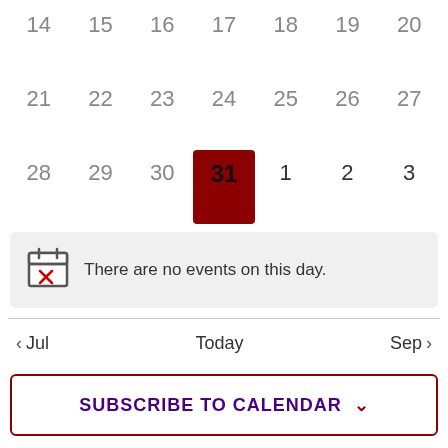[Figure (other): Calendar grid showing dates 14-20, 21-27, 28-31 (July) and 1-3 (August). Date 31 is highlighted with a dark red background as today.]
There are no events on this day.
< Jul   Today   Sep >
SUBSCRIBE TO CALENDAR ∨